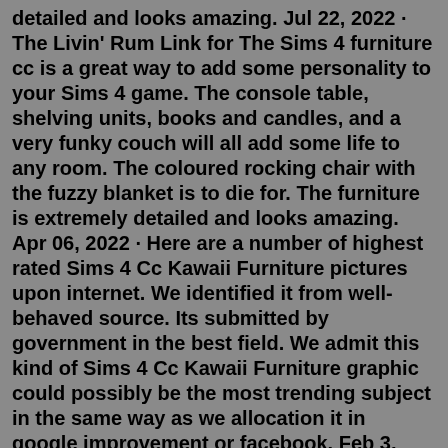detailed and looks amazing. Jul 22, 2022 · The Livin' Rum Link for The Sims 4 furniture cc is a great way to add some personality to your Sims 4 game. The console table, shelving units, books and candles, and a very funky couch will all add some life to any room. The coloured rocking chair with the fuzzy blanket is to die for. The furniture is extremely detailed and looks amazing. Apr 06, 2022 · Here are a number of highest rated Sims 4 Cc Kawaii Furniture pictures upon internet. We identified it from well-behaved source. Its submitted by government in the best field. We admit this kind of Sims 4 Cc Kawaii Furniture graphic could possibly be the most trending subject in the same way as we allocation it in google improvement or facebook. Feb 3, 2019 - Explore Elizabeth May Hawkins's board "sims 4 cc furniture", followed by 104 people on Pinterest. See more ideas about sims 4 cc furniture, sims 4, sims. Read Or Download Gallery of sims 4 kawaii cc tumblr - Sims 2 Kawaii Cc | cutest braided hair cc for